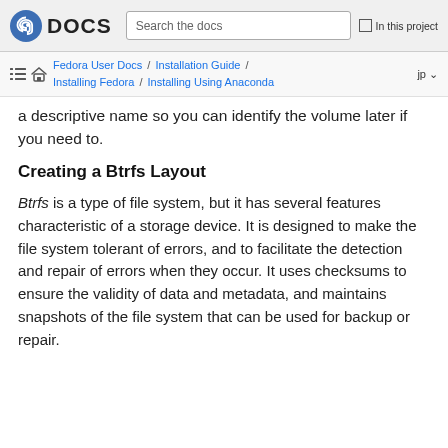Fedora DOCS | Search the docs | In this project
Fedora User Docs / Installation Guide / Installing Fedora / Installing Using Anaconda | jp
a descriptive name so you can identify the volume later if you need to.
Creating a Btrfs Layout
Btrfs is a type of file system, but it has several features characteristic of a storage device. It is designed to make the file system tolerant of errors, and to facilitate the detection and repair of errors when they occur. It uses checksums to ensure the validity of data and metadata, and maintains snapshots of the file system that can be used for backup or repair.